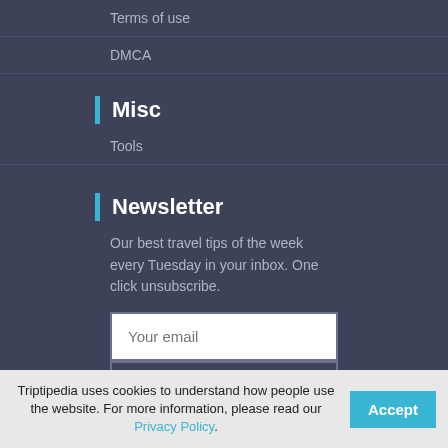Terms of use
DMCA
Misc
Tools
Newsletter
Our best travel tips of the week every Tuesday in your inbox. One click unsubscribe.
Your email
Subscribe
Triptipedia uses cookies to understand how people use the website. For more information, please read our Privacy Policy. Accept